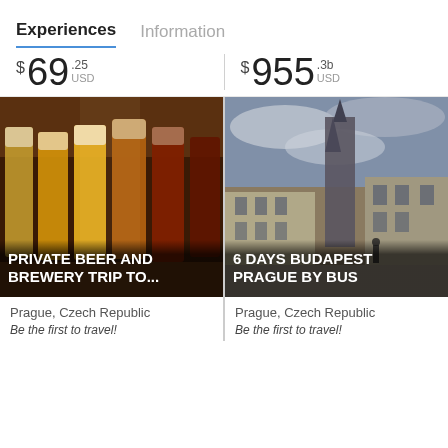Experiences  Information
$ 69 .25 USD
$ 955 .3b USD
[Figure (photo): Row of beer glasses with various shades from light to dark amber on a bar counter, warm lighting]
PRIVATE BEER AND BREWERY TRIP TO...
Prague, Czech Republic
Be the first to travel!
[Figure (photo): Gothic church spires and historic buildings in Prague's Old Town Square under a dramatic cloudy sky]
6 DAYS BUDAPEST PRAGUE BY BUS
Prague, Czech Republic
Be the first to travel!